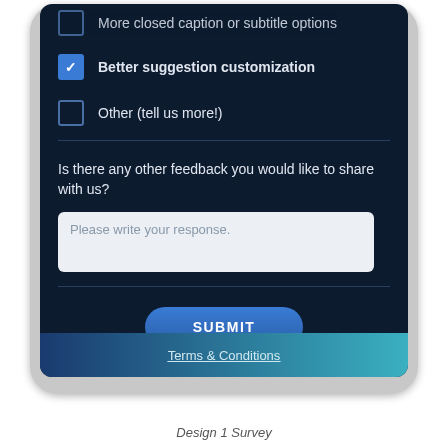More closed caption or subtitle options
Better suggestion customization
Other (tell us more!)
Is there any other feedback you would like to share with us?
Please write your response.
SUBMIT
Terms & Conditions
Design 1 Survey